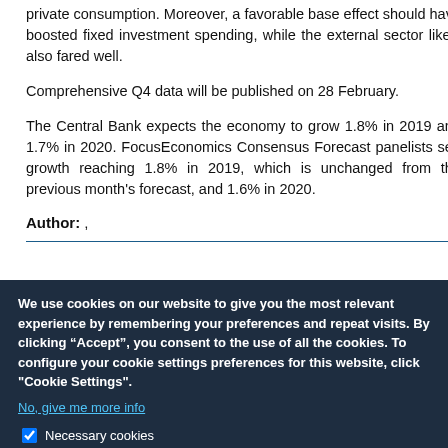private consumption. Moreover, a favorable base effect should have boosted fixed investment spending, while the external sector likely also fared well.
Comprehensive Q4 data will be published on 28 February.
The Central Bank expects the economy to grow 1.8% in 2019 and 1.7% in 2020. FocusEconomics Consensus Forecast panelists see growth reaching 1.8% in 2019, which is unchanged from the previous month's forecast, and 1.6% in 2020.
Author: ,
We use cookies on our website to give you the most relevant experience by remembering your preferences and repeat visits. By clicking “Accept”, you consent to the use of all the cookies. To configure your cookie settings preferences for this website, click "Cookie Settings".
No, give me more info
Necessary cookies
Necessary cookies help make a website usable by enabling basic functions like page navigation and access to secure areas of the website. The website cannot function properly without these cookies.